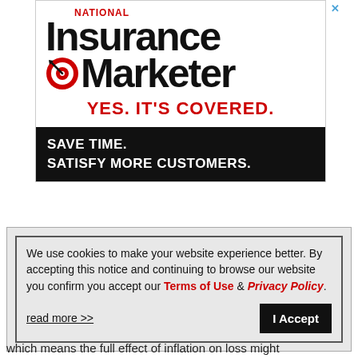[Figure (logo): National Insurance Marketer advertisement banner with logo (target/bullseye icon), tagline 'YES. IT'S COVERED.' in red, and black banner reading 'SAVE TIME. SATISFY MORE CUSTOMERS.']
We use cookies to make your website experience better. By accepting this notice and continuing to browse our website you confirm you accept our Terms of Use & Privacy Policy.

read more >>    I Accept
which means the full effect of inflation on loss might